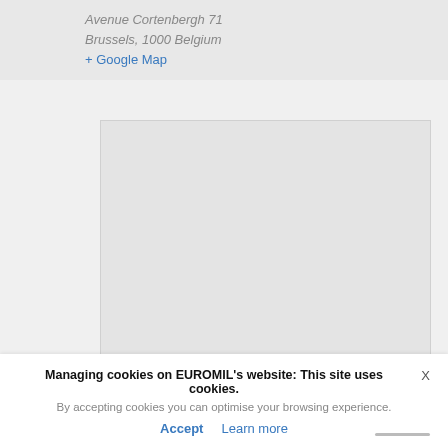Avenue Cortenbergh 71
Brussels, 1000 Belgium
+ Google Map
[Figure (other): Empty map placeholder area with light gray background]
Managing cookies on EUROMIL’s website: This site uses cookies.
By accepting cookies you can optimise your browsing experience.
Accept
Learn more